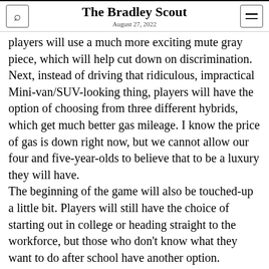The Bradley Scout
August 27, 2022
players will use a much more exciting mute gray piece, which will help cut down on discrimination.
Next, instead of driving that ridiculous, impractical Mini-van/SUV-looking thing, players will have the option of choosing from three different hybrids, which get much better gas mileage. I know the price of gas is down right now, but we cannot allow our four and five-year-olds to believe that to be a luxury they will have.
The beginning of the game will also be touched-up a little bit. Players will still have the choice of starting out in college or heading straight to the workforce, but those who don't know what they want to do after school have another option.
If the right job doesn't come along within the first few turns, you may hide out from your angry parents in the local Starbucks, waiting to see if your screenplay gets